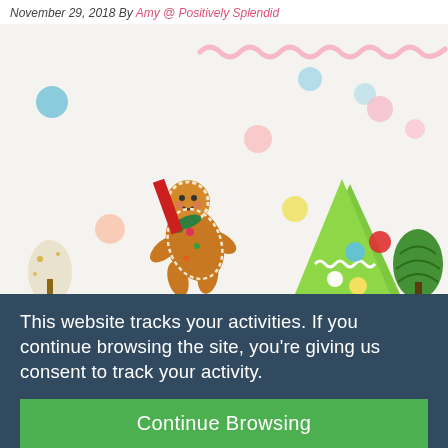November 29, 2018 By Amy @ Positively Splendid
[Figure (photo): Overhead flatlay photo of Christmas craft supplies on white background: a felt gingerbread man ornament, colorful pom-poms (blue, pink, red, yellow, white), pink ric-rac ribbon, green felt Christmas tree, bottle brush trees (white and green).]
This website tracks your activities. If you continue browsing the site, you're giving us consent to track your activity.
Continue Browsing